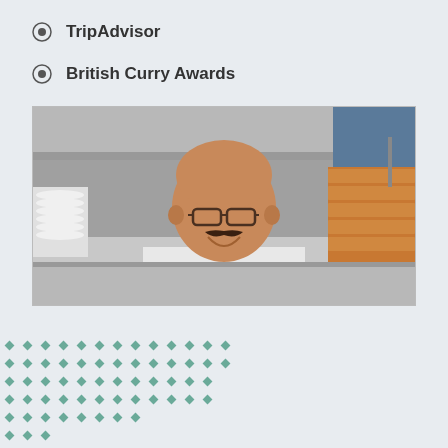TripAdvisor
British Curry Awards
[Figure (photo): A smiling male chef with glasses and a mustache, wearing a white chef's coat, leaning over a stainless steel kitchen counter. White bowls are stacked on the left, and copper pots/containers are visible on the right. Kitchen equipment and hood visible in background.]
[Figure (illustration): A decorative pattern of small teal/green diamond shapes arranged in a grid of rows and columns.]